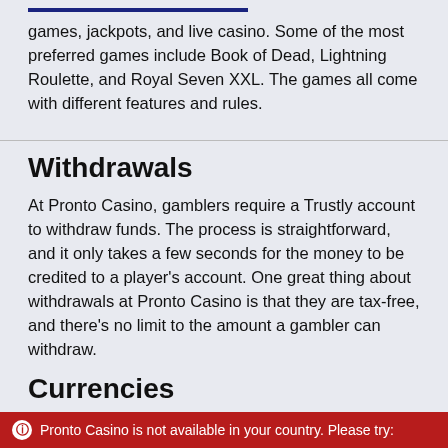games, jackpots, and live casino. Some of the most preferred games include Book of Dead, Lightning Roulette, and Royal Seven XXL. The games all come with different features and rules.
Withdrawals
At Pronto Casino, gamblers require a Trustly account to withdraw funds. The process is straightforward, and it only takes a few seconds for the money to be credited to a player's account. One great thing about withdrawals at Pronto Casino is that they are tax-free, and there's no limit to the amount a gambler can withdraw.
Currencies
Pronto Casino is not available in your country. Please try: